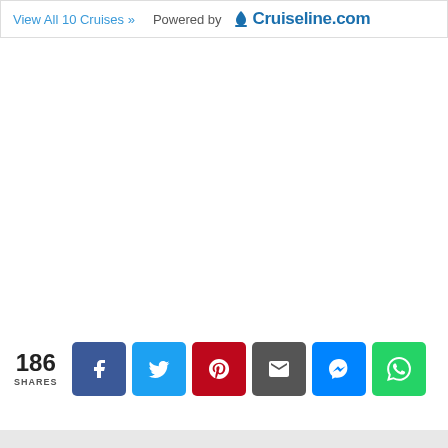View All 10 Cruises »   Powered by Cruiseline.com
186 SHARES
[Figure (screenshot): Social share buttons: Facebook, Twitter, Pinterest, Email, Messenger, WhatsApp]